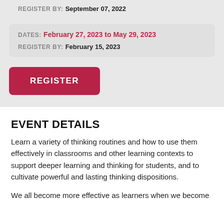REGISTER BY: September 07, 2022
DATES: February 27, 2023 to May 29, 2023
REGISTER BY: February 15, 2023
REGISTER
EVENT DETAILS
Learn a variety of thinking routines and how to use them effectively in classrooms and other learning contexts to support deeper learning and thinking for students, and to cultivate powerful and lasting thinking dispositions.
We all become more effective as learners when we become